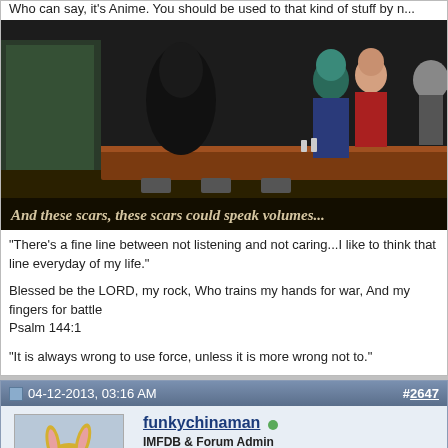Who can say, it's Anime. You should be used to that kind of stuff by n...
[Figure (illustration): Anime-style illustration of figures at a diner bar counter, dark atmospheric scene]
And these scars, these scars could speak volumes...
"There's a fine line between not listening and not caring...I like to think I walk that line everyday of my life."
Blessed be the LORD, my rock, Who trains my hands for war, And my fingers for battle
Psalm 144:1
“It is always wrong to use force, unless it is more wrong not to.”
04-12-2013, 03:16 AM   #2647
funkychinaman
IMFDB & Forum Admin
Join Date: Aug 2010
Location: Bucks County, PA
Posts: 2,614